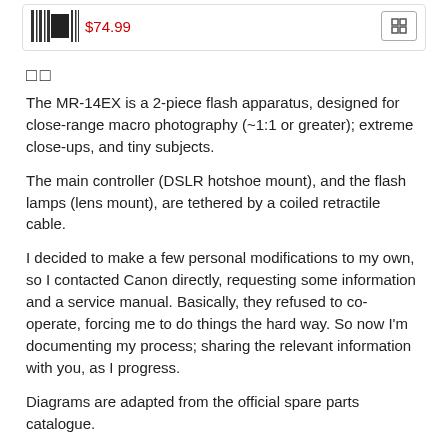[Figure (other): Product listing card with barcode/product icon, price $74.99, and a cart/shop button]
□□
The MR-14EX is a 2-piece flash apparatus, designed for close-range macro photography (~1:1 or greater); extreme close-ups, and tiny subjects.
The main controller (DSLR hotshoe mount), and the flash lamps (lens mount), are tethered by a coiled retractile cable.
I decided to make a few personal modifications to my own, so I contacted Canon directly, requesting some information and a service manual. Basically, they refused to co-operate, forcing me to do things the hard way. So now I'm documenting my process; sharing the relevant information with you, as I progress.
Diagrams are adapted from the official spare parts catalogue.